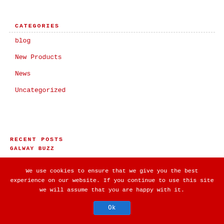CATEGORIES
blog
New Products
News
Uncategorized
RECENT POSTS
GALWAY BUZZ
We use cookies to ensure that we give you the best experience on our website. If you continue to use this site we will assume that you are happy with it.